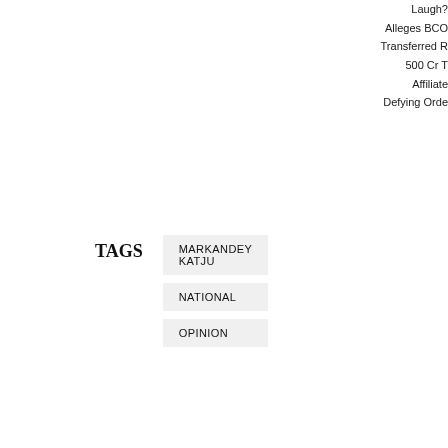Laugh?
Alleges BCO
Transferred R
500 Cr T
Affiliate
Defying Orde
TAGS
MARKANDEY KATJU
NATIONAL
OPINION
Taboola Feed
[Figure (photo): A hand holding a red sugary gummy candy against a dark background]
Banned For
Powerful Pain